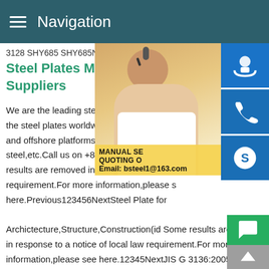Navigation
3128 SHY685 SHY685N SHY685NS,G 31
Steel Plates Manufacturer Ch Suppliers
We are the leading steel plates manufactu the steel plates worldwide.Here you can fi and offshore platforms,pipelines and high steel,etc.Call us on +86-21-52839060 toda results are removed in response to a notic requirement.For more information,please s here.Previous123456NextSteel Plate for Archictecture,Structure,Construction(id Some results are removed in response to a notice of local law requirement.For more information,please see here.12345NextJIS G 3136:2005 Rolle steels for building structure Standard test methods for heat an of steel products JIS G 3199:1992 Specification for through-
[Figure (photo): Customer service representative (woman with headset) with contact sidebar icons (headset, phone, Skype) and manual quoting info overlay showing Email: bsteel1@163.com]